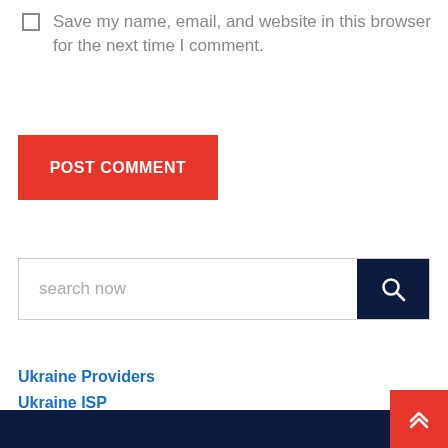Save my name, email, and website in this browser for the next time I comment.
POST COMMENT
search now
Ukraine Providers
Ukraine ISP
Ukraine Internet Providers
Satellite Phones in Ukraine